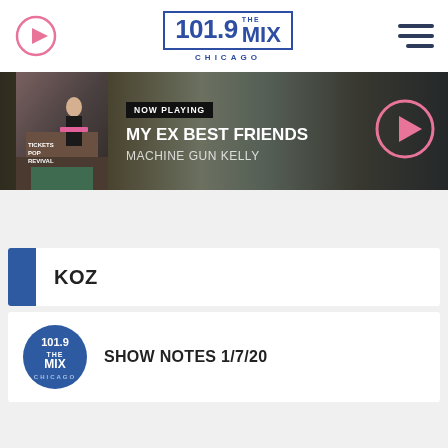101.9 THE MIX CHICAGO
[Figure (screenshot): Now Playing banner showing album art for Machine Gun Kelly, song title MY EX BEST FRIENDS, with NOW PLAYING label and play button]
KOZ
SHOW NOTES 1/7/20